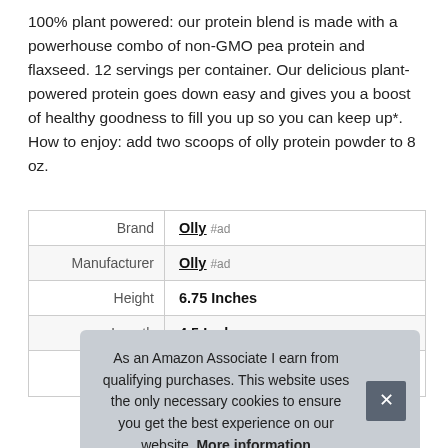100% plant powered: our protein blend is made with a powerhouse combo of non-GMO pea protein and flaxseed. 12 servings per container. Our delicious plant-powered protein goes down easy and gives you a boost of healthy goodness to fill you up so you can keep up*. How to enjoy: add two scoops of olly protein powder to 8 oz.
|  |  |
| --- | --- |
| Brand | Olly #ad |
| Manufacturer | Olly #ad |
| Height | 6.75 Inches |
| Length | 4.5 Inches |
| P... |  |
| Model | ... |
As an Amazon Associate I earn from qualifying purchases. This website uses the only necessary cookies to ensure you get the best experience on our website. More information